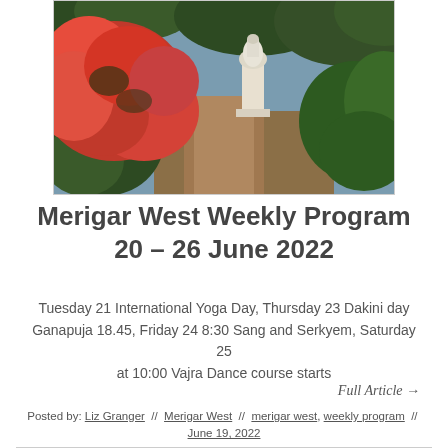[Figure (photo): Garden path with bright red/orange flowering azalea bush on left and a white stupa or stone statue in background center, surrounded by green trees and shrubs]
Merigar West Weekly Program 20 – 26 June 2022
Tuesday 21 International Yoga Day, Thursday 23 Dakini day Ganapuja 18.45, Friday 24 8:30 Sang and Serkyem, Saturday 25 at 10:00 Vajra Dance course starts
Full Article →
Posted by: Liz Granger // Merigar West // merigar west, weekly program // June 19, 2022